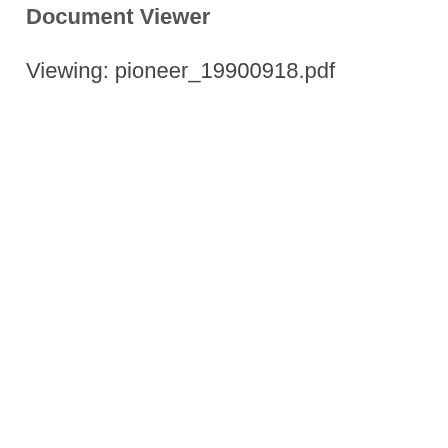Document Viewer
Viewing: pioneer_19900918.pdf